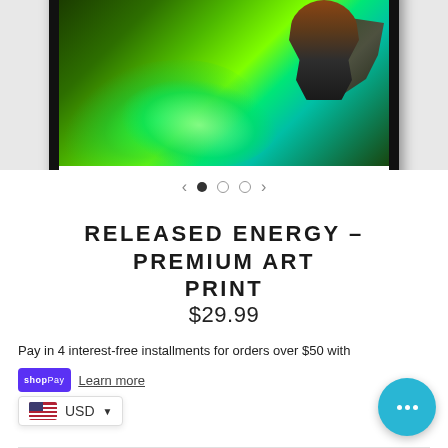[Figure (photo): Framed premium art print showing a superhero figure with glowing green energy swirls against a dark background, displayed in a black frame with white mat and caption text at the bottom]
RELEASED ENERGY - PREMIUM ART PRINT
$29.99
Pay in 4 interest-free installments for orders over $50 with
shop Pay  Learn more
USD